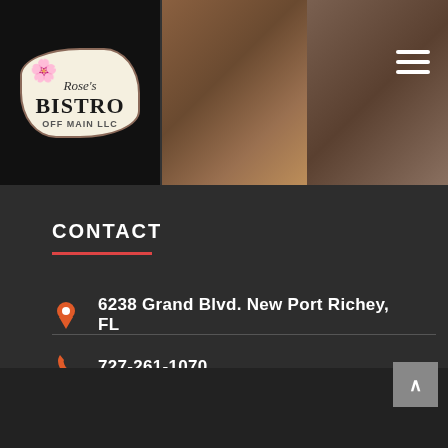[Figure (photo): Website header with Rose's Bistro Off Main LLC logo on the left, food photos in the middle and right, and a hamburger menu icon in the top right corner]
CONTACT
6238 Grand Blvd. New Port Richey, FL
727-261-1070
© COPYRIGHT ROSE'S BISTRO OFF MAIN LLC. ALL RIGHTS RESERVED.
MENU | EVENTS | CONTACT